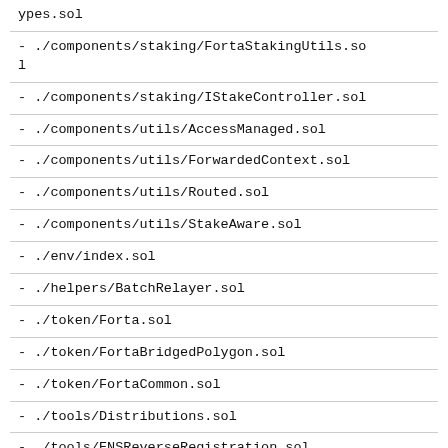ypes.sol
- ./components/staking/FortaStakingUtils.sol
- ./components/staking/IStakeController.sol
- ./components/utils/AccessManaged.sol
- ./components/utils/ForwardedContext.sol
- ./components/utils/Routed.sol
- ./components/utils/StakeAware.sol
- ./env/index.sol
- ./helpers/BatchRelayer.sol
- ./token/Forta.sol
- ./token/FortaBridgedPolygon.sol
- ./token/FortaCommon.sol
- ./tools/Distributions.sol
- ./tools/ENSReverseRegistration.sol
- ./tools/FrontRunningProtection.sol
- ./tools/FullMath.sol